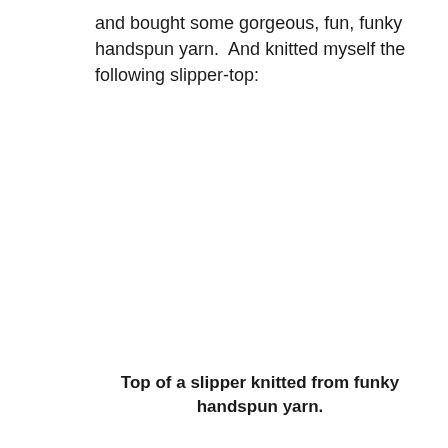and bought some gorgeous, fun, funky handspun yarn.  And knitted myself the following slipper-top:
[Figure (photo): Blank/white image area showing the top of a slipper knitted from funky handspun yarn (image not visible in this rendering)]
Top of a slipper knitted from funky handspun yarn.